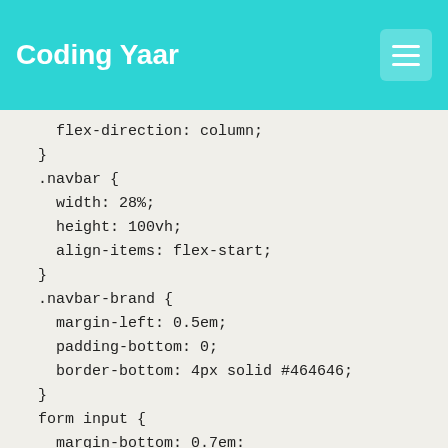Coding Yaar
flex-direction: column;
}
.navbar {
  width: 28%;
  height: 100vh;
  align-items: flex-start;
}
.navbar-brand {
  margin-left: 0.5em;
  padding-bottom: 0;
  border-bottom: 4px solid #464646;
}
form input {
  margin-bottom: 0.7em;